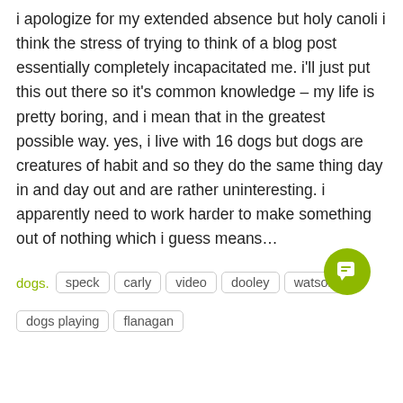i apologize for my extended absence but holy canoli i think the stress of trying to think of a blog post essentially completely incapacitated me. i'll just put this out there so it's common knowledge – my life is pretty boring, and i mean that in the greatest possible way. yes, i live with 16 dogs but dogs are creatures of habit and so they do the same thing day in and day out and are rather uninteresting. i apparently need to work harder to make something out of nothing which i guess means…
dogs. speck carly video dooley watson dogs playing flanagan
read more